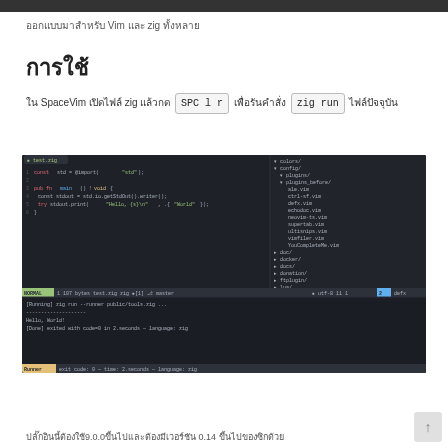ออกแบบมาสำหรับ Vim และ zig ทั้งหลาย
การใช้
ใน SpaceVim เปิดไฟล์ zig แล้วกด SPC l r เพื่อรันคำสั่ง zig run ไฟล์ปัจจุบัน
[Figure (screenshot): Screenshot of SpaceVim editor showing a Zig hello world program in the editor with file tree on right and terminal output at bottom showing 'Hello, World!' and a runner status bar.]
ปลั๊กอินนี้ต้องใช้9.0.0ขึ้นไปและต้องมีเวอร์ชัน 0.14 ขึ้นไปของซิกด้วย